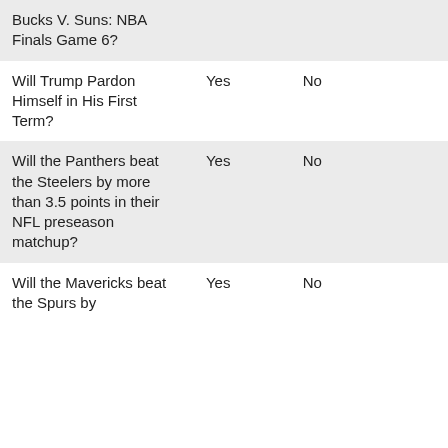| Question | Option A | Option B | Value 1 | Value 2 |
| --- | --- | --- | --- | --- |
| Bucks V. Suns: NBA Finals Game 6? |  |  |  |  |
| Will Trump Pardon Himself in His First Term? | Yes | No | 0.00 | 0.00 |
| Will the Panthers beat the Steelers by more than 3.5 points in their NFL preseason matchup? | Yes | No | 64.92 | 0.00 |
| Will the Mavericks beat the Spurs by | Yes | No | 10.02 | 0.00 |